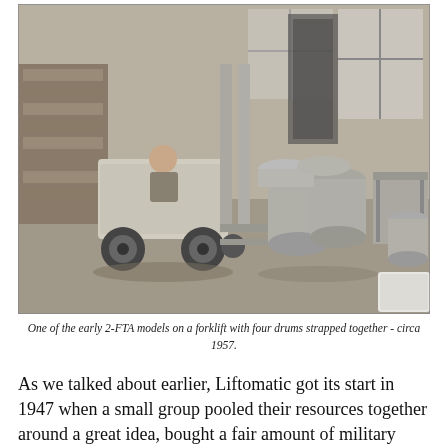[Figure (photo): Black and white photograph of an early 2-FTA model on a forklift with four drums strapped together in a warehouse setting, circa 1957.]
One of the early 2-FTA models on a forklift with four drums strapped together - circa 1957.
As we talked about earlier, Liftomatic got its start in 1947 when a small group pooled their resources together around a great idea, bought a fair amount of military production equipment at a discount (production equipment that no longer had any use after World War Two) in order to help